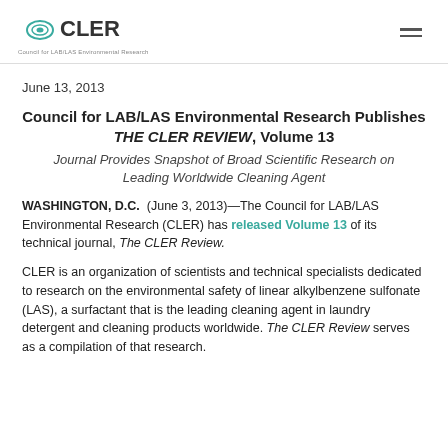CLER — Council for LAB/LAS Environmental Research
June 13, 2013
Council for LAB/LAS Environmental Research Publishes THE CLER REVIEW, Volume 13
Journal Provides Snapshot of Broad Scientific Research on Leading Worldwide Cleaning Agent
WASHINGTON, D.C. (June 3, 2013)—The Council for LAB/LAS Environmental Research (CLER) has released Volume 13 of its technical journal, The CLER Review.
CLER is an organization of scientists and technical specialists dedicated to research on the environmental safety of linear alkylbenzene sulfonate (LAS), a surfactant that is the leading cleaning agent in laundry detergent and cleaning products worldwide. The CLER Review serves as a compilation of that research.